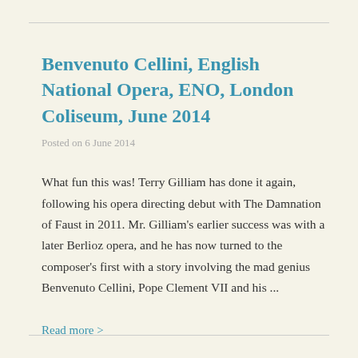Benvenuto Cellini, English National Opera, ENO, London Coliseum, June 2014
Posted on 6 June 2014
What fun this was! Terry Gilliam has done it again, following his opera directing debut with The Damnation of Faust in 2011. Mr. Gilliam's earlier success was with a later Berlioz opera, and he has now turned to the composer's first with a story involving the mad genius Benvenuto Cellini, Pope Clement VII and his ...
Read more >